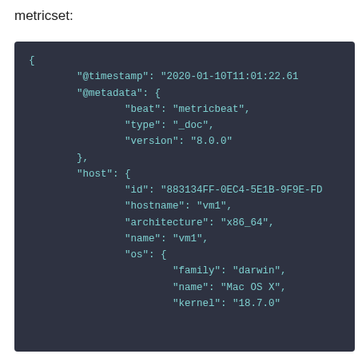metricset:
[Figure (screenshot): Dark-themed code block showing a JSON metricset document with fields: @timestamp, @metadata (beat: metricbeat, type: _doc, version: 8.0.0), host (id: 883134FF-0EC4-5E1B-9F9E-FDC..., hostname: vm1, architecture: x86_64, name: vm1, os: { family: darwin, name: Mac OS X, kernel: 18.7.0 (truncated) })]